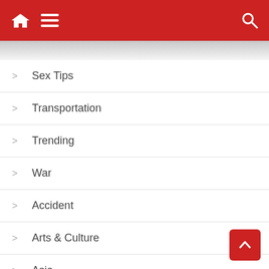Navigation menu header with home, menu, and search icons
Sex Tips
Transportation
Trending
War
Accident
Arts & Culture
Asia
Biography
Exchange Rate
Education
Energy